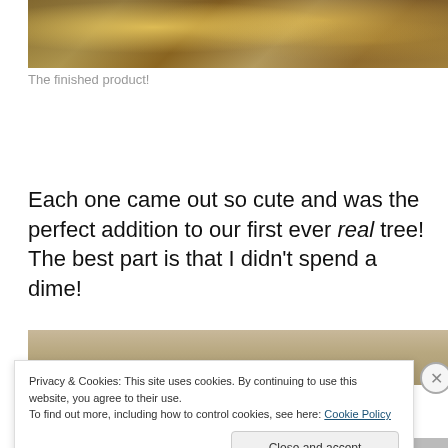[Figure (photo): Close-up photo of bokeh lights in warm golden/amber tones, cropped at top of page]
The finished product!
Each one came out so cute and was the perfect addition to our first ever real tree! The best part is that I didn't spend a dime!
[Figure (photo): Partial photo of a wooden surface, cropped]
Privacy & Cookies: This site uses cookies. By continuing to use this website, you agree to their use.
To find out more, including how to control cookies, see here: Cookie Policy